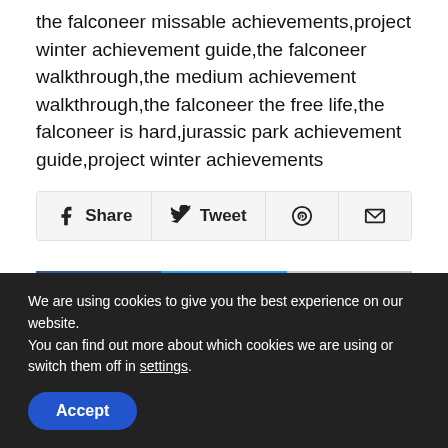the falconeer missable achievements,project winter achievement guide,the falconeer walkthrough,the medium achievement walkthrough,the falconeer the free life,the falconeer is hard,jurassic park achievement guide,project winter achievements
[Figure (screenshot): Social share bar with Facebook Share, Twitter Tweet, Pinterest, and Email icon buttons]
[Figure (screenshot): Social share bar with Facebook (dark blue), Twitter (light blue), and Share (gray) icon buttons]
We are using cookies to give you the best experience on our website.
You can find out more about which cookies we are using or switch them off in settings.
Accept